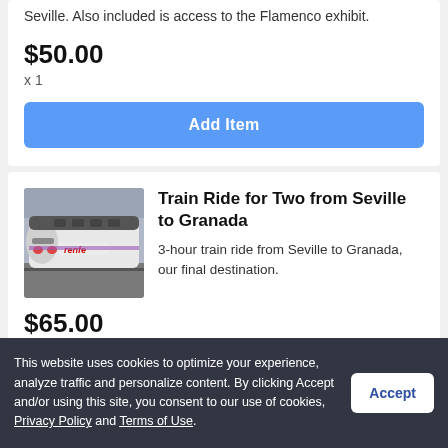Seville. Also included is access to the Flamenco exhibit.
$50.00
x 1
Add Item
[Figure (photo): A high-speed train (Renfe) at a station platform, viewed from the front-left angle, silver and white colored.]
Train Ride for Two from Seville to Granada
3-hour train ride from Seville to Granada, our final destination.
$65.00
This website uses cookies to optimize your experience, analyze traffic and personalize content. By clicking Accept and/or using this site, you consent to our use of cookies, Privacy Policy and Terms of Use.
Accept